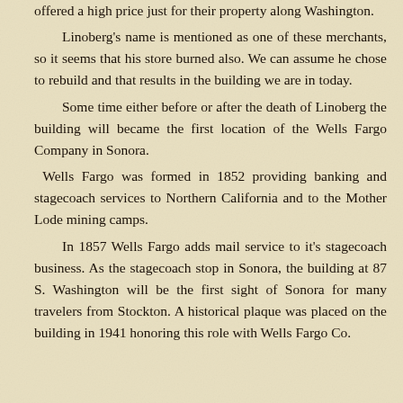offered a high price just for their property along Washington. Linoberg's name is mentioned as one of these merchants, so it seems that his store burned also. We can assume he chose to rebuild and that results in the building we are in today. Some time either before or after the death of Linoberg the building will became the first location of the Wells Fargo Company in Sonora. Wells Fargo was formed in 1852 providing banking and stagecoach services to Northern California and to the Mother Lode mining camps. In 1857 Wells Fargo adds mail service to it's stagecoach business. As the stagecoach stop in Sonora, the building at 87 S. Washington will be the first sight of Sonora for many travelers from Stockton. A historical plaque was placed on the building in 1941 honoring this role with Wells Fargo Co.